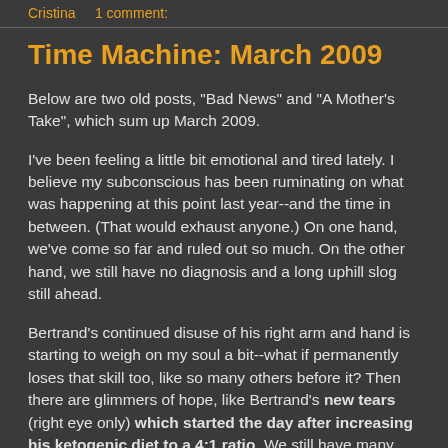Cristina    1 comment:
Time Machine: March 2009
Below are two old posts, "Bad News" and "A Mother's Take", which sum up March 2009.
I've been feeling a little bit emotional and tired lately. I believe my subconscious has been ruminating on what was happening at this point last year--and the time in between. (That would exhaust anyone.) On one hand, we've come so far and ruled out so much. On the other hand, we still have no diagnosis and a long uphill slog still ahead.
Bertrand's continued disuse of his right arm and hand is starting to weigh on my soul a bit--what if permanently loses that skill too, like so many others before it? Then there are glimmers of hope, like Bertrand's new tears (right eye only) which started the day after increasing his ketogenic diet to a 4:1 ratio. We still have many avenues of treatment and research ahead of us, and we will keep fighting for every